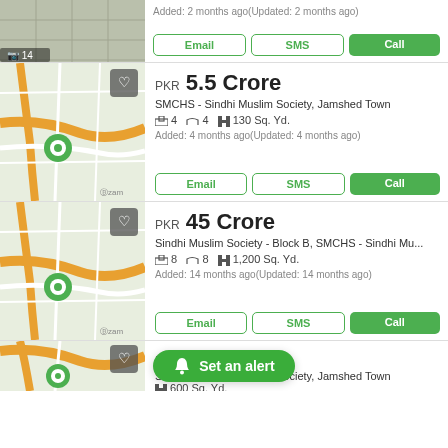[Figure (screenshot): Top strip: room photo with photo count 14, buttons Email, SMS, Call, added 2 months ago]
Added: 2 months ago(Updated: 2 months ago)
Email | SMS | Call
[Figure (map): Map view with location pin for SMCHS listing]
PKR 5.5 Crore
SMCHS - Sindhi Muslim Society, Jamshed Town
4 beds  4 baths  130 Sq. Yd.
Added: 4 months ago(Updated: 4 months ago)
Email | SMS | Call
[Figure (map): Map view with location pin for Sindhi Muslim Society Block B listing]
PKR 45 Crore
Sindhi Muslim Society - Block B, SMCHS - Sindhi Mu...
8 beds  8 baths  1,200 Sq. Yd.
Added: 14 months ago(Updated: 14 months ago)
Email | SMS | Call
[Figure (map): Map view with location pin, partial listing visible at bottom]
SMCHS - Sindhi Muslim Society, Jamshed Town
600 Sq. Yd.
Set an alert